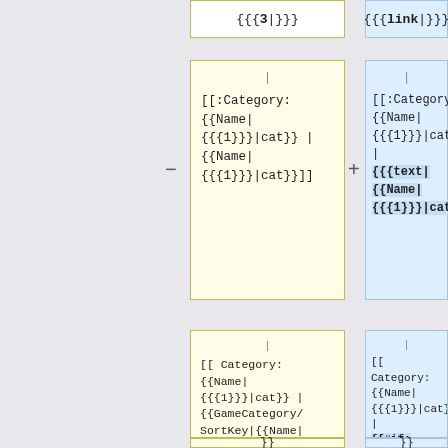{{{3|}}}
{{{link|}}}
[[:Category: {{Name| {{{1}}}|cat}} | {{Name| {{{1}}}|cat}}]]
[[:Category: {{Name| {{{1}}}|cat}} | {{{text|{{Name| {{{1}}}|cat}}}}}}]]
[[ Category: {{Name| {{{1}}}|cat}} | {{GameCategory/SortKey|{{Name| {{{1}}}|cat}} | {{PAGENAME}}}}]]
[[ Category: {{Name| {{{1}}}|cat}} | {{#if: {{{sortKey|}}} | {{uc: {{{sortKey}}}}}} | {{GameCategory/SortKey|{{Name| {{{1}}}|cat}}|{{PAGENAME}}}}}}]]
}}
}}